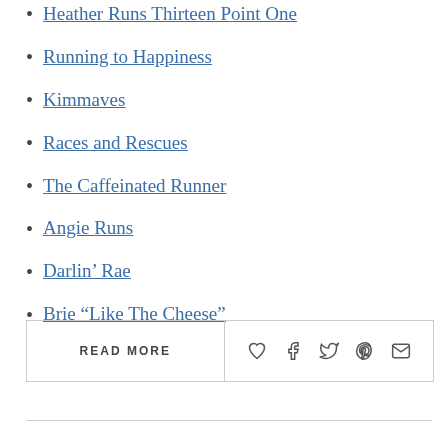Heather Runs Thirteen Point One
Running to Happiness
Kimmaves
Races and Rescues
The Caffeinated Runner
Angie Runs
Darlin’ Rae
Brie “Like The Cheese”
READ MORE
[Figure (other): Social share icons: heart/like, Facebook, Twitter, Pinterest, email]